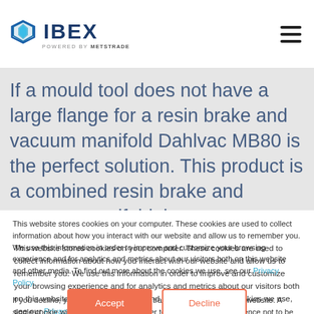IBEX powered by METSTRADE
If a mould tool does not have a large flange for a resin brake and vacuum manifold Dahlvac MB80 is the perfect solution. This product is a combined resin brake and vacuum manifold that
This website stores cookies on your computer. These cookies are used to collect information about how you interact with our website and allow us to remember you. We use this information in order to improve and customize your browsing experience and for analytics and metrics about our visitors both on this website and other media. To find out more about the cookies we use, see our Privacy Policy.
If you decline, your information won't be tracked when you visit this website. A single cookie will be used in your browser to remember your preference not to be tracked.
Accept
Decline